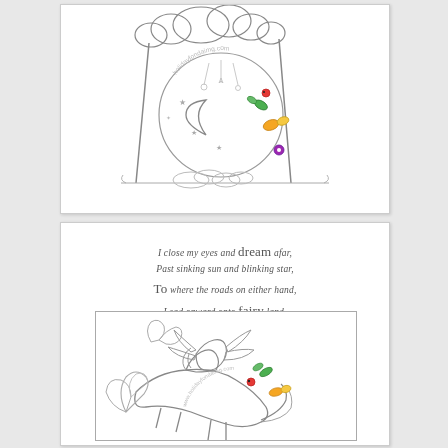[Figure (illustration): Line art illustration of a decorative arch with clouds, a crescent moon, stars, and small colorful flowers/butterflies. Watermark text arched in a circle reads 'holidayfondaimg.com'.]
I close my eyes and dream afar,
Past sinking sun and blinking star,
To where the roads on either hand,
Lead onward onto fairy land.
[Figure (illustration): Line art illustration of a fairy riding a horse, with flowers and butterflies. Watermark text arched in a circle reads 'www.holidayfondaimg.com'.]